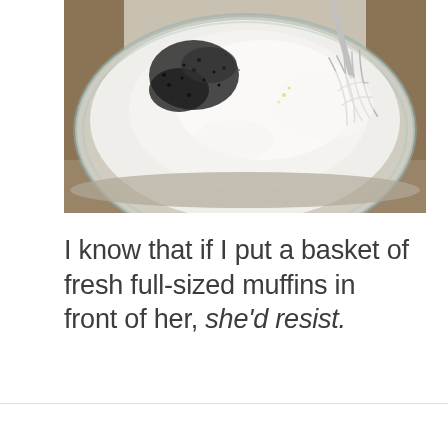[Figure (photo): Overhead view of a glass mixing bowl filled with white flour and dark poppy seeds, with a metal whisk resting in the bowl. The background shows a wooden surface.]
I know that if I put a basket of fresh full-sized muffins in front of her, she'd resist.